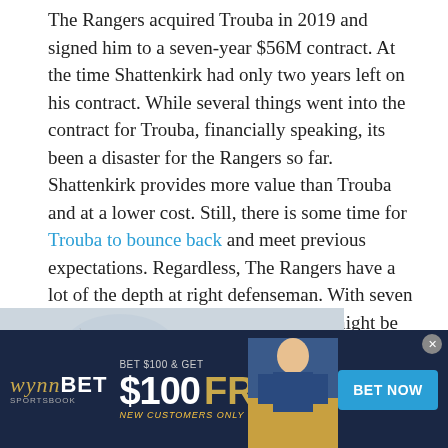The Rangers acquired Trouba in 2019 and signed him to a seven-year $56M contract. At the time Shattenkirk had only two years left on his contract. While several things went into the contract for Trouba, financially speaking, its been a disaster for the Rangers so far. Shattenkirk provides more value than Trouba and at a lower cost. Still, there is some time for Trouba to bounce back and meet previous expectations. Regardless, The Rangers have a lot of the depth at right defenseman. With seven years of Trouba at $8M, the Rangers might be regretting handing out such a large contract to a player that has not lived up to expectations.
[Figure (photo): Partial hockey photo strip showing a player on ice, partially cropped, with text 'ns' visible on the right side]
[Figure (photo): WynnBET Sportsbook advertisement banner: 'BET $100 & GET $100 FREE BET - NEW CUSTOMERS ONLY' with a football player image and 'BET NOW' button]